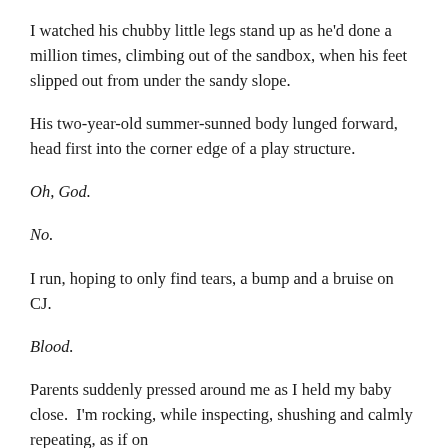I watched his chubby little legs stand up as he'd done a million times, climbing out of the sandbox, when his feet slipped out from under the sandy slope.
His two-year-old summer-sunned body lunged forward, head first into the corner edge of a play structure.
Oh, God.
No.
I run, hoping to only find tears, a bump and a bruise on CJ.
Blood.
Parents suddenly pressed around me as I held my baby close.  I'm rocking, while inspecting, shushing and calmly repeating, as if on